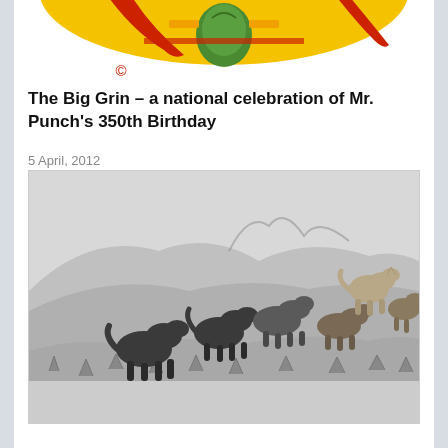[Figure (illustration): Partial view of a colorful circular illustration, likely a Mr. Punch or carnival-related design with bright red, yellow, and green colors. A copyright symbol (©) is visible in red below the image.]
The Big Grin – a national celebration of Mr. Punch's 350th Birthday
5 April, 2012
[Figure (photo): Black and white photograph of a pack of wolves or foxes moving across a snowy, brush-covered landscape with mountains visible in the background. Several dark-colored animals are in the foreground and lighter-colored animals are visible on a rise to the right.]